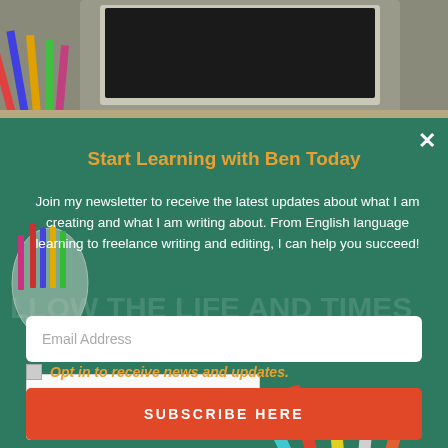[Figure (photo): Background photo showing pencils in a cup, colored pencils, a tablet on a desk — educational theme with teal overlay]
Start Learning with Ben Today
Join my newsletter to receive the latest updates about what I am creating and what I am writing about. From English language learning to freelance writing and editing, I can help you succeed!
Email Address
[Figure (screenshot): reCAPTCHA widget with checkbox labeled I'm not a robot and reCAPTCHA logo with Privacy – Terms links]
Opt in to receive news and updates.
SUBSCRIBE HERE